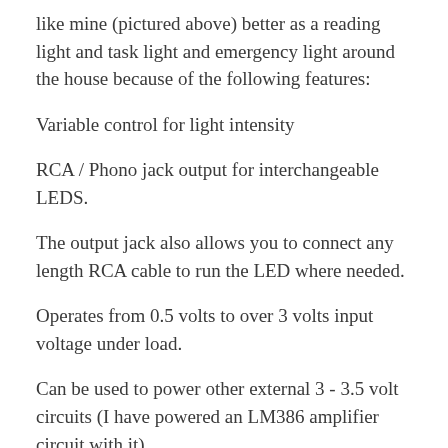like mine (pictured above) better as a reading light and task light and emergency light around the house because of the following features:
Variable control for light intensity
RCA / Phono jack output for interchangeable LEDS.
The output jack also allows you to connect any length RCA cable to run the LED where needed.
Operates from 0.5 volts to over 3 volts input voltage under load.
Can be used to power other external 3 - 3.5 volt circuits (I have powered an LM386 amplifier circuit with it).